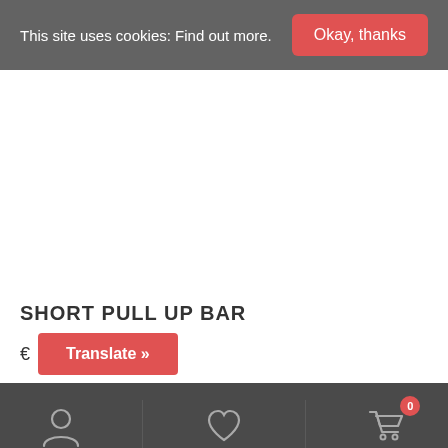This site uses cookies: Find out more. Okay, thanks
SHORT PULL UP BAR
€ Translate »
User icon | Wishlist icon | Cart icon (0)